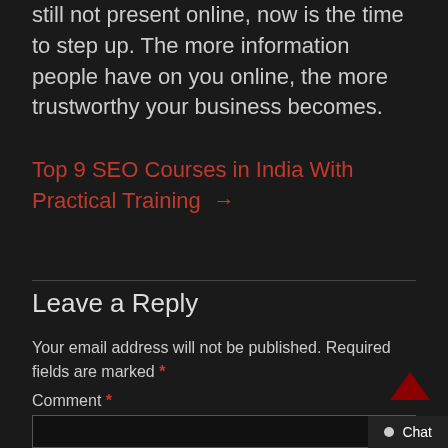still not present online, now is the time to step up. The more information people have on you online, the more trustworthy your business becomes.
Top 9 SEO Courses in India With Practical Training →
Leave a Reply
Your email address will not be published. Required fields are marked *
Comment *